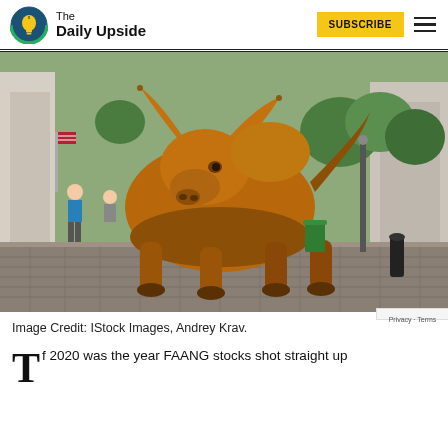The Daily Upside
[Figure (photo): The Charging Bull bronze sculpture on cobblestone street in New York City financial district, with pedestrians and green trees visible in the background.]
Image Credit: IStock Images, Andrey Krav.
f 2020 was the year FAANG stocks shot straight up